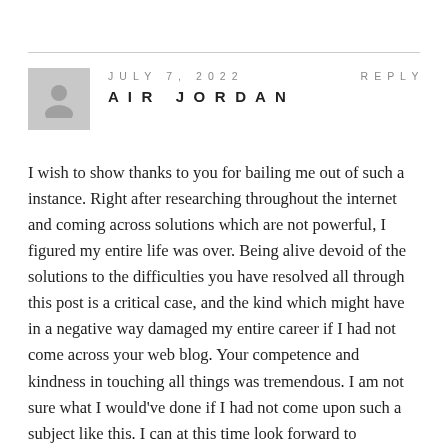JULY 7, 2022
REPLY
AIR JORDAN
I wish to show thanks to you for bailing me out of such a instance. Right after researching throughout the internet and coming across solutions which are not powerful, I figured my entire life was over. Being alive devoid of the solutions to the difficulties you have resolved all through this post is a critical case, and the kind which might have in a negative way damaged my entire career if I had not come across your web blog. Your competence and kindness in touching all things was tremendous. I am not sure what I would've done if I had not come upon such a subject like this. I can at this time look forward to